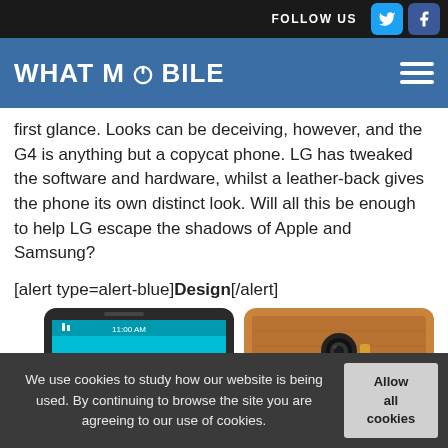FOLLOW US
WHAT MOBILE
first glance. Looks can be deceiving, however, and the G4 is anything but a copycat phone. LG has tweaked the software and hardware, whilst a leather-back gives the phone its own distinct look. Will all this be enough to help LG escape the shadows of Apple and Samsung?
[alert type=alert-blue]Design[/alert]
[Figure (photo): Two views of the LG G4 smartphone: front view showing the screen with teal/cyan background and status bar showing 11:00 AM, and rear view showing a brown leather back cover with camera lens and dual LED flash.]
We use cookies to study how our website is being used. By continuing to browse the site you are agreeing to our use of cookies.